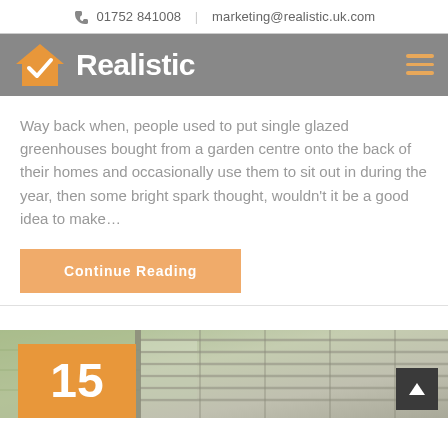📞 01752 841008  |  marketing@realistic.uk.com
[Figure (logo): Realistic logo — orange house with checkmark, white bold text 'Realistic' on grey background]
Way back when, people used to put single glazed greenhouses bought from a garden centre onto the back of their homes and occasionally use them to sit out in during the year, then some bright spark thought, wouldn't it be a good idea to make…
Continue Reading
[Figure (photo): Rooflight/skylight structure viewed from above, showing glass panels and frame, with green lawn visible. Orange date box showing '15' in bottom left corner.]